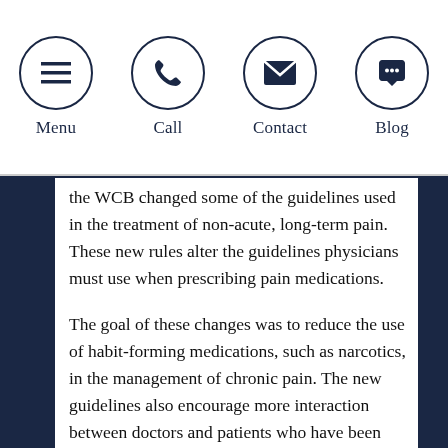Menu | Call | Contact | Blog
the WCB changed some of the guidelines used in the treatment of non-acute, long-term pain. These new rules alter the guidelines physicians must use when prescribing pain medications.
The goal of these changes was to reduce the use of habit-forming medications, such as narcotics, in the management of chronic pain. The new guidelines also encourage more interaction between doctors and patients who have been prescribed habit-forming medications. For example, under these new guidelines, patients receiving opioid prescriptions must participate in ongoing drug tests and psychological evaluations.